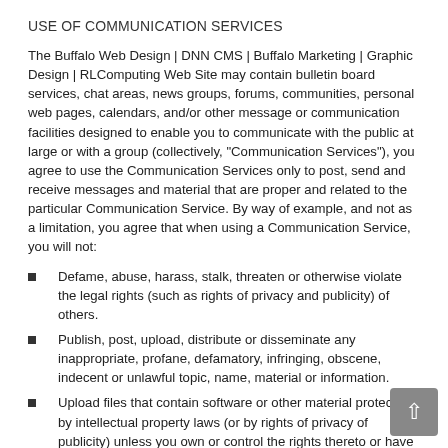USE OF COMMUNICATION SERVICES
The Buffalo Web Design | DNN CMS | Buffalo Marketing | Graphic Design | RLComputing Web Site may contain bulletin board services, chat areas, news groups, forums, communities, personal web pages, calendars, and/or other message or communication facilities designed to enable you to communicate with the public at large or with a group (collectively, "Communication Services"), you agree to use the Communication Services only to post, send and receive messages and material that are proper and related to the particular Communication Service. By way of example, and not as a limitation, you agree that when using a Communication Service, you will not:
Defame, abuse, harass, stalk, threaten or otherwise violate the legal rights (such as rights of privacy and publicity) of others.
Publish, post, upload, distribute or disseminate any inappropriate, profane, defamatory, infringing, obscene, indecent or unlawful topic, name, material or information.
Upload files that contain software or other material protected by intellectual property laws (or by rights of privacy of publicity) unless you own or control the rights thereto or have received all necessary consents.
Upload files that contain viruses, corrupted files, or any other...